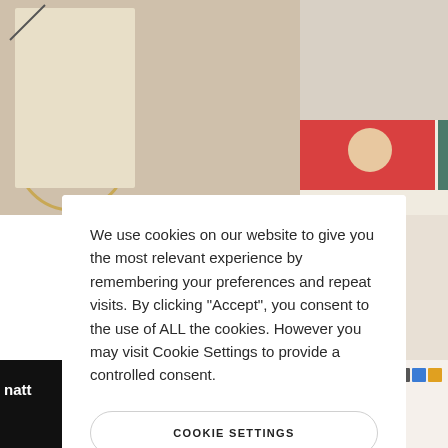[Figure (screenshot): Background collage of website screenshots showing 'Elipsa Creative Magazine Theme' and other website designs]
We use cookies on our website to give you the most relevant experience by remembering your preferences and repeat visits. By clicking “Accept”, you consent to the use of ALL the cookies. However you may visit Cookie Settings to provide a controlled consent.
COOKIE SETTINGS
ACCEPT